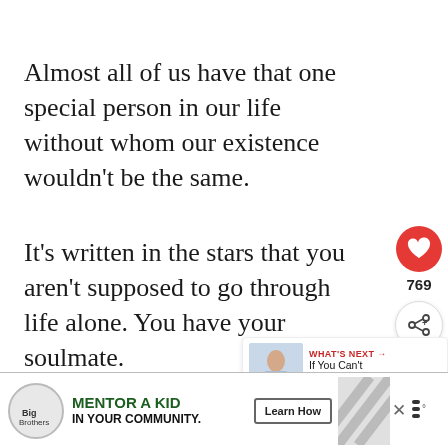Almost all of us have that one special person in our life without whom our existence wouldn't be the same.
It's written in the stars that you aren't supposed to go through life alone. You have your soulmate.
Your relationship has greater purpose
[Figure (screenshot): Social media sidebar with red heart button showing 769 likes and a share button with plus icon]
[Figure (screenshot): What's Next overlay showing a photo of a woman and text: 'If You Can't Talk To Him...']
[Figure (screenshot): Big Brothers Big Sisters advertisement banner: 'MENTOR A KID IN YOUR COMMUNITY. Learn How' with logo and diagonal stripe pattern]